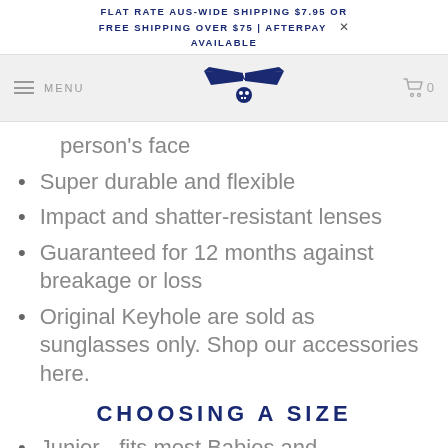FLAT RATE AUS-WIDE SHIPPING $7.95 OR FREE SHIPPING OVER $75 | AFTERPAY AVAILABLE
[Figure (logo): Babiators logo with wings and skull]
person's face
Super durable and flexible
Impact and shatter-resistant lenses
Guaranteed for 12 months against breakage or loss
Original Keyhole are sold as sunglasses only. Shop our accessories here.
CHOOSING A SIZE
Junior - fits most Babies and Toddlers from 0-2 years